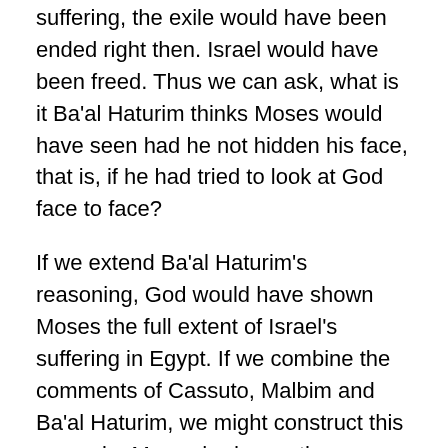suffering, the exile would have been ended right then. Israel would have been freed. Thus we can ask, what is it Ba'al Haturim thinks Moses would have seen had he not hidden his face, that is, if he had tried to look at God face to face?
If we extend Ba'al Haturim's reasoning, God would have shown Moses the full extent of Israel's suffering in Egypt. If we combine the comments of Cassuto, Malbim and Ba'al Haturim, we might construct this scenario. Moses had seen the suffering of an individual Israelite, which led him to kill an Egyptian taskmaster. Moses is listening to what God is trying to convey, but is not yet ready to grasp the enormity of Israel's suffering. Moses is not yet ready to perceive truth from God's perspective – an intellectual and spiritual experience that is beyond him at the time of the call to his mission. Moses is just human. Trying to